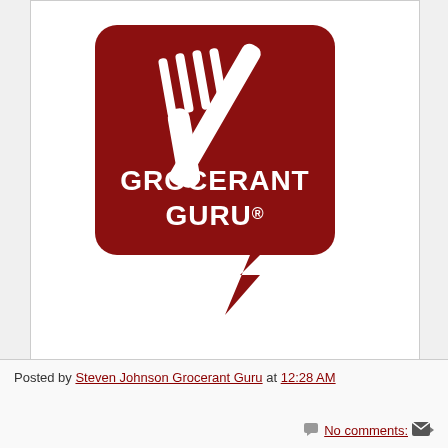[Figure (logo): Grocerant Guru logo: dark red rounded-rectangle speech bubble with a fork and knife/pen graphic overlaid, text 'GROCERANT GURU®' in white bold letters, with a lightning bolt tail at the bottom of the bubble]
Posted by Steven Johnson Grocerant Guru at 12:28 AM
No comments: